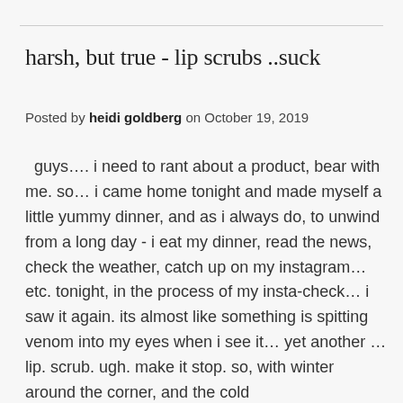harsh, but true - lip scrubs ..suck
Posted by heidi goldberg on October 19, 2019
guys…. i need to rant about a product, bear with me. so… i came home tonight and made myself a little yummy dinner, and as i always do, to unwind from a long day - i eat my dinner, read the news, check the weather, catch up on my instagram… etc. tonight, in the process of my insta-check… i saw it again. its almost like something is spitting venom into my eyes when i see it… yet another … lip. scrub. ugh. make it stop. so, with winter around the corner, and the cold